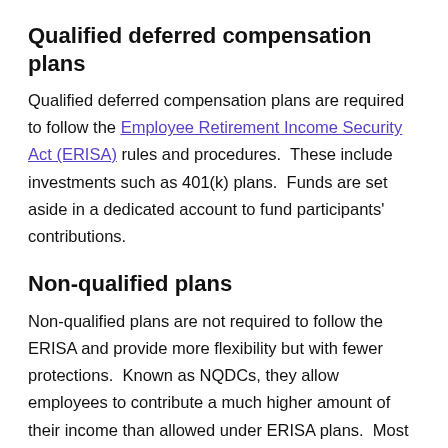Qualified deferred compensation plans
Qualified deferred compensation plans are required to follow the Employee Retirement Income Security Act (ERISA) rules and procedures.  These include investments such as 401(k) plans.  Funds are set aside in a dedicated account to fund participants' contributions.
Non-qualified plans
Non-qualified plans are not required to follow the ERISA and provide more flexibility but with fewer protections.  Known as NQDCs, they allow employees to contribute a much higher amount of their income than allowed under ERISA plans.  Most NQDCs include the provision of paying benefits early, such as when the executive becomes disabled or dies prematurely.  However, ERISA